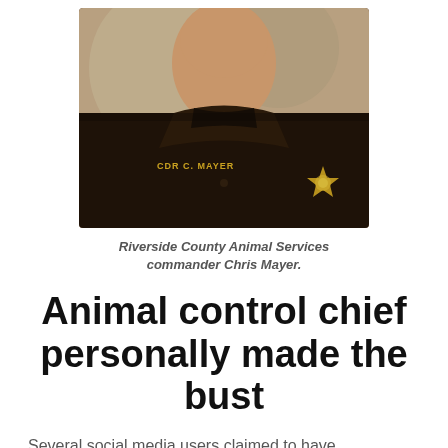[Figure (photo): Portrait photo of Riverside County Animal Services commander Chris Mayer wearing a dark uniform with name tag reading 'CDR C. MAYER' and a gold star badge visible on the chest.]
Riverside County Animal Services commander Chris Mayer.
Animal control chief personally made the bust
Several social media users claimed to have